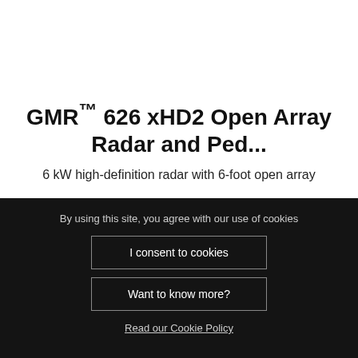GMR™ 626 xHD2 Open Array Radar and Ped...
6 kW high-definition radar with 6-foot open array
By using this site, you agree with our use of cookies
I consent to cookies
Want to know more?
Read our Cookie Policy